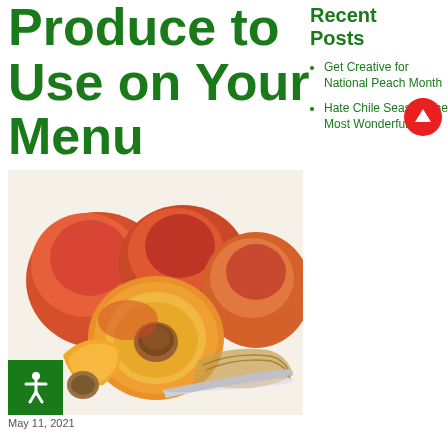Produce to Use on Your Menu
[Figure (photo): Sliced peaches and nectarines arranged with a wicker basket and a knife on a white background]
May 11, 2021
Recent Posts
Get Creative for National Peach Month
Hate Chile Season The Most Wonderful Time